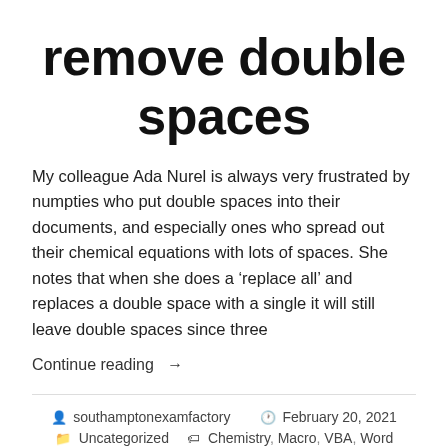remove double spaces
My colleague Ada Nurel is always very frustrated by numpties who put double spaces into their documents, and especially ones who spread out their chemical equations with lots of spaces. She notes that when she does a ‘replace all’ and replaces a double space with a single it will still leave double spaces since three
Continue reading →
southamptonexamfactory  February 20, 2021  Uncategorized  Chemistry, Macro, VBA, Word